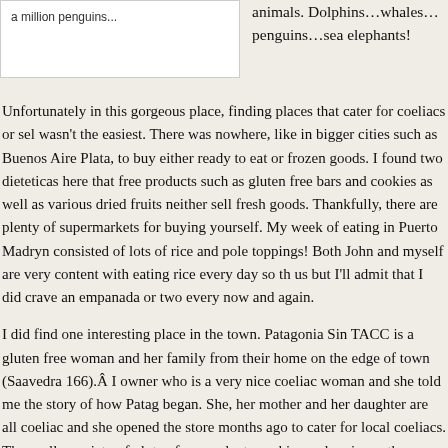[Figure (illustration): Handwritten note reading 'a million penguins...' with partial text above]
animals. Dolphins…whales…penguins…sea elephants!
Unfortunately in this gorgeous place, finding places that cater for coeliacs or sell wasn't the easiest. There was nowhere, like in bigger cities such as Buenos Aires Plata, to buy either ready to eat or frozen goods. I found two dieteticas here that free products such as gluten free bars and cookies as well as various dried fruits neither sell fresh goods. Thankfully, there are plenty of supermarkets for buying yourself. My week of eating in Puerto Madryn consisted of lots of rice and pole toppings! Both John and myself are very content with eating rice every day so th us but I'll admit that I did crave an empanada or two every now and again.
I did find one interesting place in the town. Patagonia Sin TACC is a gluten free woman and her family from their home on the edge of town (Saavedra 166).Â I owner who is a very nice coeliac woman and she told me the story of how Patag began. She, her mother and her daughter are all coeliac and she opened the store months ago to cater for local coeliacs. They sell a variety of gluten free products cookies and various other sweet and savoury treats. They also bake their own br sandwiches for customers.
I was glad to have visited this store and to speak with the owner but to be honest much that caught my eye because I was hoping for something ready to eat like...